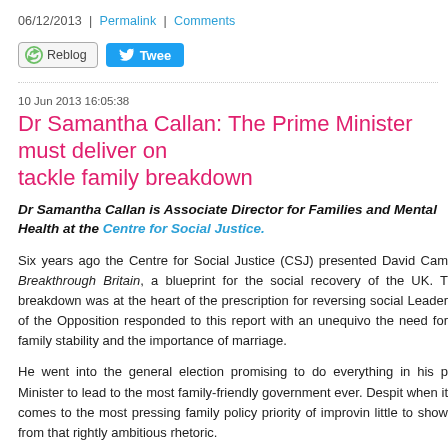06/12/2013  |  Permalink  |  Comments
[Figure (other): Social media buttons: Reblog and Tweet]
10 Jun 2013 16:05:38
Dr Samantha Callan: The Prime Minister must deliver on tackle family breakdown
Dr Samantha Callan is Associate Director for Families and Mental Health at the Centre for Social Justice.
Six years ago the Centre for Social Justice (CSJ) presented David Cam Breakthrough Britain, a blueprint for the social recovery of the UK. T breakdown was at the heart of the prescription for reversing social Leader of the Opposition responded to this report with an unequivo the need for family stability and the importance of marriage.
He went into the general election promising to do everything in his p Minister to lead to the most family-friendly government ever. Despit when it comes to the most pressing family policy priority of improvin little to show from that rightly ambitious rhetoric.
Our report, Fractured Families: why stability matters, published later